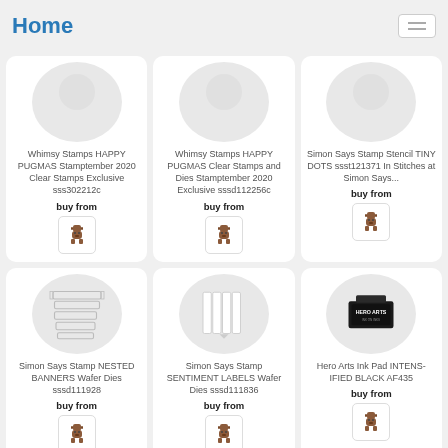Home
Whimsy Stamps HAPPY PUGMAS Stamptember 2020 Clear Stamps Exclusive sss302212c
buy from
Whimsy Stamps HAPPY PUGMAS Clear Stamps and Dies Stamptember 2020 Exclusive sssd112256c
buy from
Simon Says Stamp Stencil TINY DOTS ssst121371 In Stitches at Simon Says...
buy from
Simon Says Stamp NESTED BANNERS Wafer Dies sssd111928
buy from
Simon Says Stamp SENTIMENT LABELS Wafer Dies sssd111836
buy from
Hero Arts Ink Pad INTENS-IFIED BLACK AF435
buy from